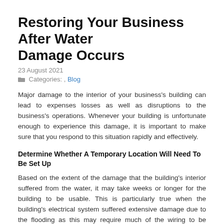Restoring Your Business After Water Damage Occurs
23 August 2021
Categories: , Blog
Major damage to the interior of your business's building can lead to expenses losses as well as disruptions to the business's operations. Whenever your building is unfortunate enough to experience this damage, it is important to make sure that you respond to this situation rapidly and effectively.
Determine Whether A Temporary Location Will Need To Be Set Up
Based on the extent of the damage that the building's interior suffered from the water, it may take weeks or longer for the building to be usable. This is particularly true when the building's electrical system suffered extensive damage due to the flooding as this may require much of the wiring to be replaced. A water damage contractor will be able to conduct a thorough assessment of the damage to provide you with an estimated repair time.
Follow Safety Steps When Recovering Inventory Or Equipment From The Water Damaged Area